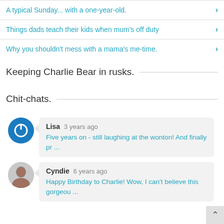A typical Sunday... with a one-year-old.
Things dads teach their kids when mum's off duty
Why you shouldn't mess with a mama's me-time.
Keeping Charlie Bear in rusks.
Chit-chats.
Lisa 3 years ago
Five years on - still laughing at the wonton! And finally pr ...
Cyndie 6 years ago
Happy Birthday to Charlie! Wow, I can't believe this gorgeou ...